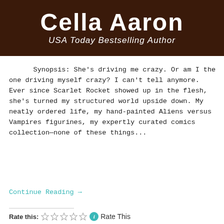[Figure (photo): Book cover header showing author name 'Cella Aaron' in large white text and 'USA Today Bestselling Author' in italic white text on a dark brown background.]
Synopsis: She's driving me crazy. Or am I the one driving myself crazy? I can't tell anymore. Ever since Scarlet Rocket showed up in the flesh, she's turned my structured world upside down. My neatly ordered life, my hand-painted Aliens versus Vampires figurines, my expertly curated comics collection—none of these things...
Continue Reading →
Rate this: ☆☆☆☆☆ ℹ Rate This
Share this: